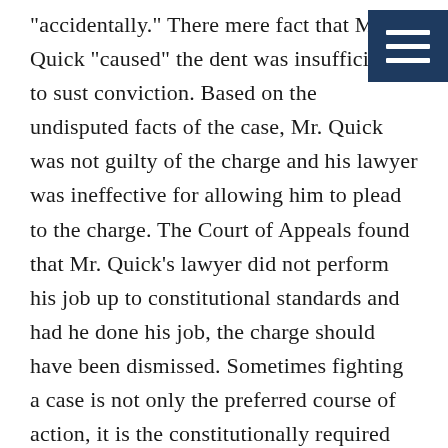"accidentally." There mere fact that Mr. Quick "caused" the dent was insufficient to sust conviction. Based on the undisputed facts of the case, Mr. Quick was not guilty of the charge and his lawyer was ineffective for allowing him to plead to the charge. The Court of Appeals found that Mr. Quick's lawyer did not perform his job up to constitutional standards and had he done his job, the charge should have been dismissed. Sometimes fighting a case is not only the preferred course of action, it is the constitutionally required course of action and if a lawyer is not willing to put up a fight on behalf of his/her client, a change in